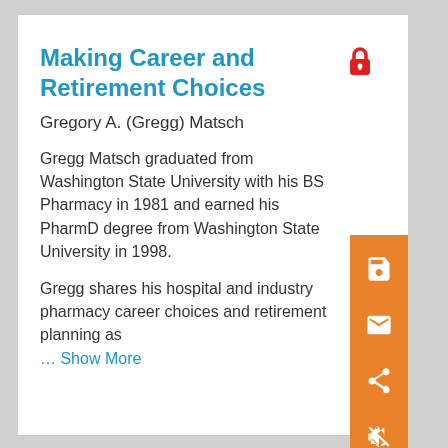Making Career and Retirement Choices
Gregory A. (Gregg) Matsch
Gregg Matsch graduated from Washington State University with his BS Pharmacy in 1981 and earned his PharmD degree from Washington State University in 1998.
Gregg shares his hospital and industry pharmacy career choices and retirement planning as … Show More